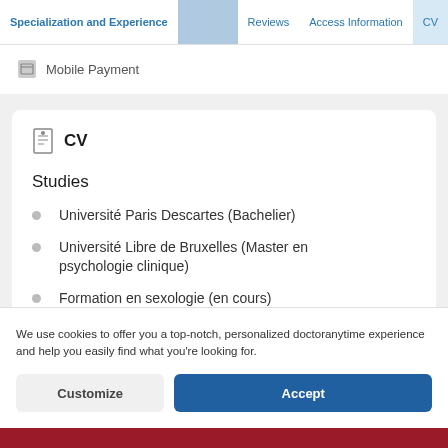Specialization and Experience | Reviews | Access Information | CV
Mobile Payment
CV
Studies
Université Paris Descartes (Bachelier)
Université Libre de Bruxelles (Master en psychologie clinique)
Formation en sexologie (en cours)
We use cookies to offer you a top-notch, personalized doctoranytime experience and help you easily find what you're looking for.